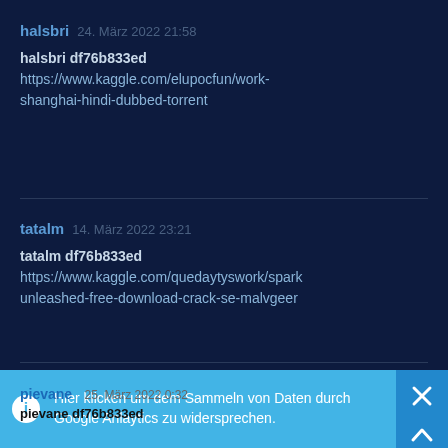halsbri  24. März 2022 21:58
halsbri df76b833ed
https://www.kaggle.com/elupocfun/work-shanghai-hindi-dubbed-torrent
tatalm  14. März 2022 23:21
tatalm df76b833ed
https://www.kaggle.com/quedaytyswork/spark-unleashed-free-download-crack-se-malvgeer
Hier klicken um dem Sammeln von Daten durch Google Anlaytics zu widersprechen.
pievane  25. März 2022 0:32
pievane df76b833ed